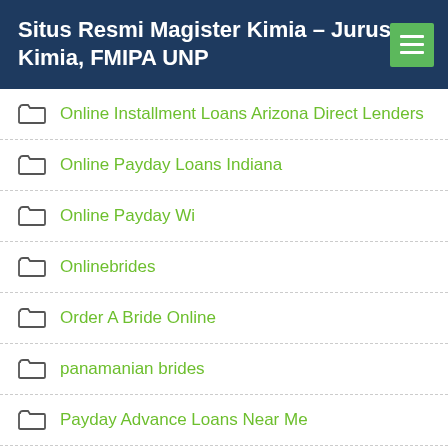Situs Resmi Magister Kimia – Jurusan Kimia, FMIPA UNP
Online Installment Loans Arizona Direct Lenders
Online Payday Loans Indiana
Online Payday Wi
Onlinebrides
Order A Bride Online
panamanian brides
Payday Advance Loans Near Me